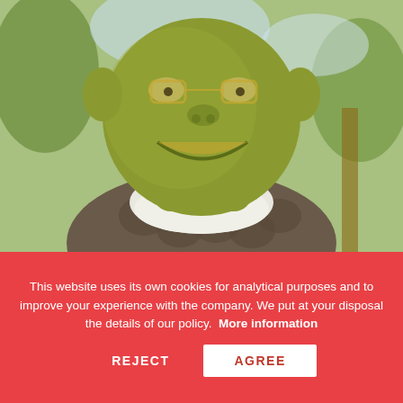[Figure (photo): Close-up photo of a Shrek character statue or figurine showing the green ogre's smiling face and upper body with white collar, surrounded by trees in the background.]
Creating a Picture-tale with a telephone number doesn't mean you are phigre
Generally, people consider using an enumerate virtual telephone with an ordinary one since the company charges more for possible wild calls.
This website uses its own cookies for analytical purposes and to improve your experience with the company. We put at your disposal the details of our policy. More information
REJECT
AGREE